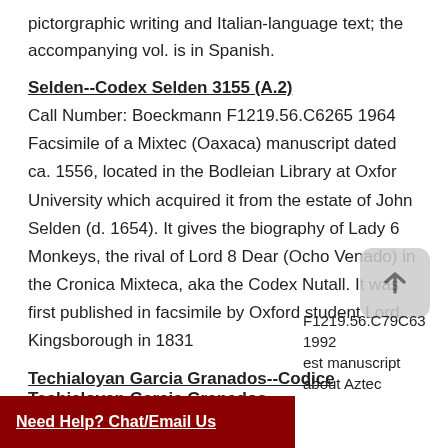pictorgraphic writing and Italian-language text; the accompanying vol. is in Spanish.
Selden--Codex Selden 3155 (A.2)
Call Number: Boeckmann F1219.56.C6265 1964 Facsimile of a Mixtec (Oaxaca) manuscript dated ca. 1556, located in the Bodleian Library at Oxfor University which acquired it from the estate of John Selden (d. 1654). It gives the biography of Lady 6 Monkeys, the rival of Lord 8 Dear (Ocho Venado) in the Cronica Mixteca, aka the Codex Nutall. It was first published in facsimile by Oxford student Lord Kingsborough in 1831
Techialoyan Garcia Granados--Codice Techialoyan Garcia Granados
F1219.56.C79C63 1992
est manuscript about Aztec
Need Help? Chat/Email Us